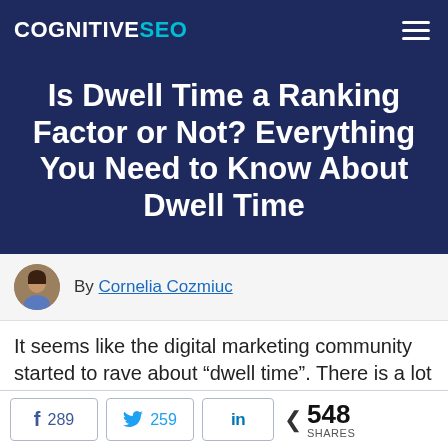COGNITIVESEO
Is Dwell Time a Ranking Factor or Not? Everything You Need to Know About Dwell Time
By Cornelia Cozmiuc
It seems like the digital marketing community started to rave about “dwell time”. There is a lot of controversy on forums, blogs and social
f 289   259   in   < 548 SHARES